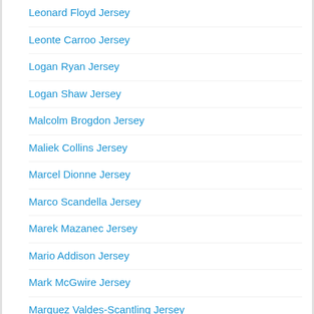Leonard Floyd Jersey
Leonte Carroo Jersey
Logan Ryan Jersey
Logan Shaw Jersey
Malcolm Brogdon Jersey
Maliek Collins Jersey
Marcel Dionne Jersey
Marco Scandella Jersey
Marek Mazanec Jersey
Mario Addison Jersey
Mark McGwire Jersey
Marquez Valdes-Scantling Jersey